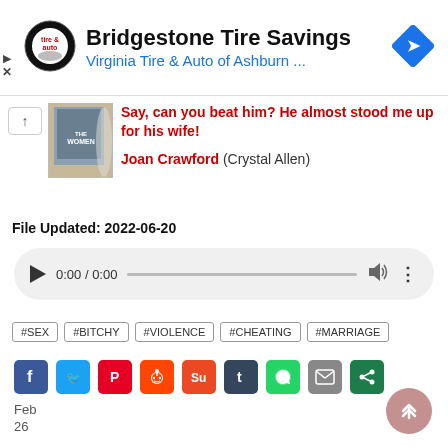[Figure (other): Advertisement banner for Bridgestone Tire Savings - Virginia Tire & Auto of Ashburn with logo and navigation icon]
[Figure (other): Movie DVD thumbnail for The Women film]
Say, can you beat him? He almost stood me up for his wife!
Joan Crawford (Crystal Allen)
File Updated: 2022-06-20
[Figure (other): Audio player control bar showing 0:00 / 0:00]
#SEX
#BITCHY
#VIOLENCE
#CHEATING
#MARRIAGE
[Figure (other): Social sharing icons: Facebook, Twitter, Pinterest, Reddit, StumbleUpon, Tumblr, WhatsApp, Email, Share]
Feb 26